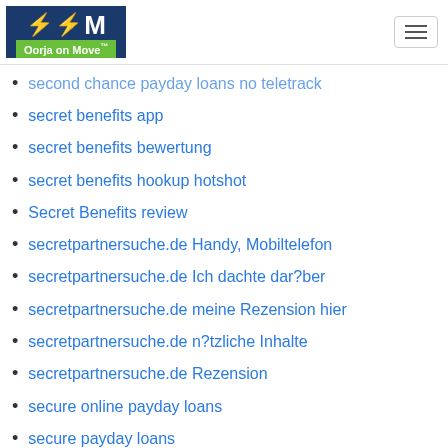Oorja on Move
second chance payday loans no teletrack
secret benefits app
secret benefits bewertung
secret benefits hookup hotshot
Secret Benefits review
secretpartnersuche.de Handy, Mobiltelefon
secretpartnersuche.de Ich dachte dar?ber
secretpartnersuche.de meine Rezension hier
secretpartnersuche.de n?tzliche Inhalte
secretpartnersuche.de Rezension
secure online payday loans
secure payday loans
Seeking Arrangement Coupon
seeking arrangement review
SeekingArrangement Discount Code
senior friend finder best hookup apps